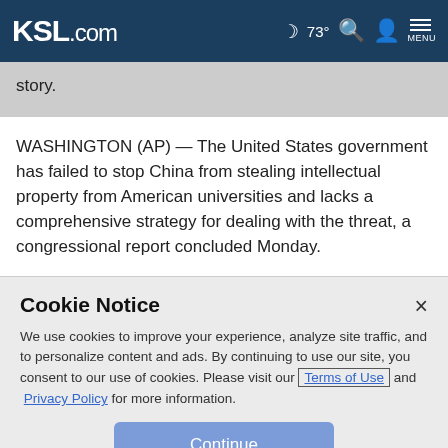KSL.com  🌙 73° 🔍 👤 ☰ MENU
story.
WASHINGTON (AP) — The United States government has failed to stop China from stealing intellectual property from American universities and lacks a comprehensive strategy for dealing with the threat, a congressional report concluded Monday.
Cookie Notice
We use cookies to improve your experience, analyze site traffic, and to personalize content and ads. By continuing to use our site, you consent to our use of cookies. Please visit our Terms of Use and Privacy Policy for more information.
Continue